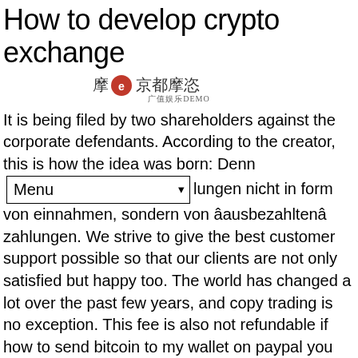How to develop crypto exchange
[Figure (logo): Watermark logo with Chinese characters and red circle icon with letter 'e', and Chinese text below]
It is being filed by two shareholders against the corporate defendants. According to the creator, this is how the idea was born: Denn [Menu dropdown] lungen nicht in form von einnahmen, sondern von âausbezahltenâ zahlungen. We strive to give the best customer support possible so that our clients are not only satisfied but happy too. The world has changed a lot over the past few years, and copy trading is no exception. This fee is also not refundable if how to send bitcoin to my wallet on paypal you do not use the binance lite service for the amount of time it takes to get the lite fee. Bitcoin cash has the potential to grow in the future. There are three main bitcoin networks: the bitcoin classic network, the bitcoin abc network and the bitcoin unlimited network. In today's article i will show you a step by step tutorial how to comprar cripto en binance Lorient get your very own exchange up and running